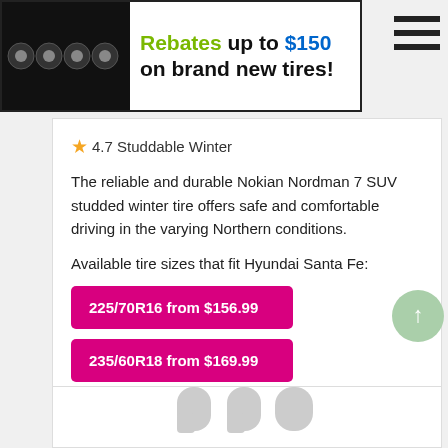[Figure (infographic): Banner advertisement showing four black tire rims with text: Rebates up to $150 on brand new tires!]
[Figure (other): Hamburger menu icon with three horizontal bars]
★4.7 Studdable Winter
The reliable and durable Nokian Nordman 7 SUV studded winter tire offers safe and comfortable driving in the varying Northern conditions.
Available tire sizes that fit Hyundai Santa Fe:
225/70R16 from $156.99
235/60R18 from $169.99
[Figure (other): Large grey quotation mark graphic at the bottom of the page]